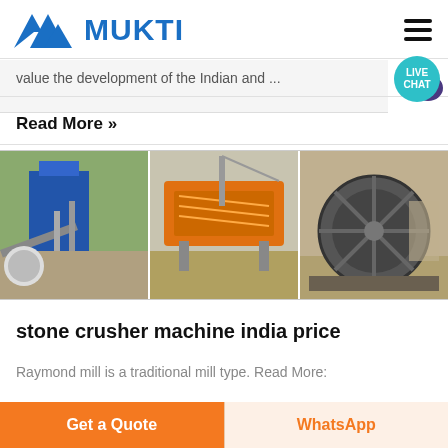[Figure (logo): MUKTI company logo with blue triangular mountain icon and blue bold text MUKTI, plus hamburger menu icon top right]
value the development of the Indian and ...
Read More »
[Figure (photo): Three industrial machinery photos side by side: left shows a crushing plant with blue dust collector and conveyor belt; center shows an orange vibrating screen/crusher; right shows a large sand washing wheel machine]
stone crusher machine india price
Raymond mill is a traditional mill type. Read More:
Get a Quote
WhatsApp